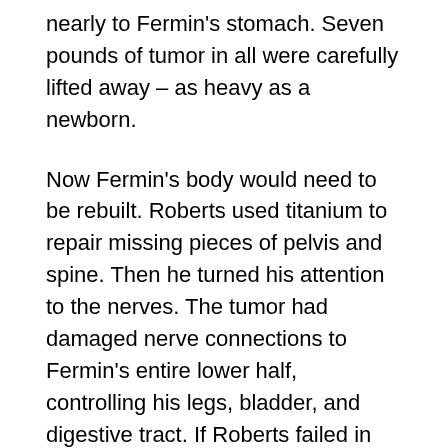nearly to Fermin's stomach. Seven pounds of tumor in all were carefully lifted away – as heavy as a newborn.
Now Fermin's body would need to be rebuilt. Roberts used titanium to repair missing pieces of pelvis and spine. Then he turned his attention to the nerves. The tumor had damaged nerve connections to Fermin's entire lower half, controlling his legs, bladder, and digestive tract. If Roberts failed in this next tedious part of the surgery, Fermin would be using a bag to go to the bathroom for the rest of his life. And he'd never walk again.
Nerve reconstruction is tedious, like splicing together a series of phone lines running through the body. It's an area of surgery that holds uncertainty. Even as Roberts reconnected the damaged nerves into Fermin's spinal cord, he knew that they simply might not take, that Fermin's body might reject the nerves, disappointing though nerve reconstruction this